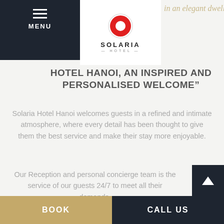in an elegant dwelling
HOTEL HANOI, AN INSPIRED AND PERSONALISED WELCOME"
Solaria Hotel Hanoi welcomes guests in a refined and intimate atmosphere, where every detail has been thought to give them the best service and make their stay more enjoyable.
Our Reception and personal concierge team is the service of our guests 24/7 to meet all their demands.
A romantic dinner, a trip to organise? An unforgettable getaway trip Halong bay or simply
BOOK    CALL US